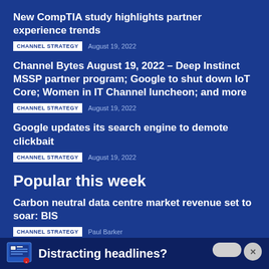New CompTIA study highlights partner experience trends
CHANNEL STRATEGY   August 19, 2022
Channel Bytes August 19, 2022 – Deep Instinct MSSP partner program; Google to shut down IoT Core; Women in IT Channel luncheon; and more
CHANNEL STRATEGY   August 19, 2022
Google updates its search engine to demote clickbait
CHANNEL STRATEGY   August 19, 2022
Popular this week
Carbon neutral data centre market revenue set to soar: BIS
CHANNEL STRATEGY   Paul Barker
Distracting headlines?